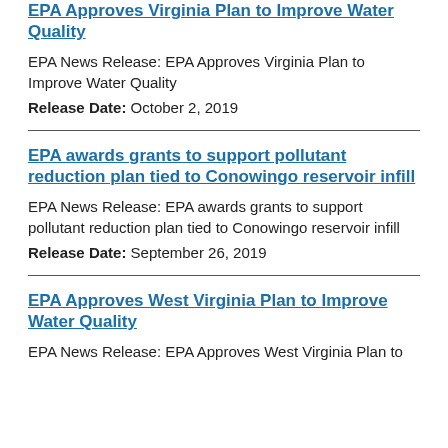EPA Approves Virginia Plan to Improve Water Quality
EPA News Release: EPA Approves Virginia Plan to Improve Water Quality
Release Date: October 2, 2019
EPA awards grants to support pollutant reduction plan tied to Conowingo reservoir infill
EPA News Release: EPA awards grants to support pollutant reduction plan tied to Conowingo reservoir infill
Release Date: September 26, 2019
EPA Approves West Virginia Plan to Improve Water Quality
EPA News Release: EPA Approves West Virginia Plan to